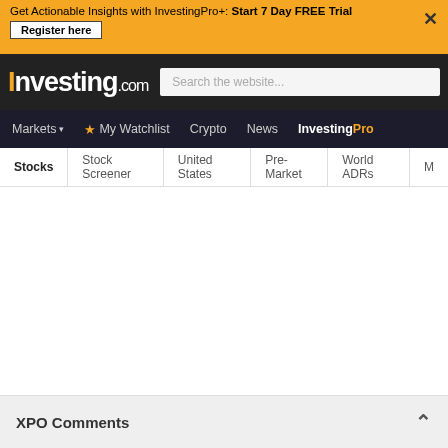Get Actionable Insights with InvestingPro+: Start 7 Day FREE Trial — Register here
[Figure (screenshot): Investing.com logo with orange 'i' and white text, followed by a search bar]
Markets | My Watchlist | Crypto | News | InvestingPro
Stocks | Stock Screener | United States | Pre-Market | World ADRs | M...
XPO Comments